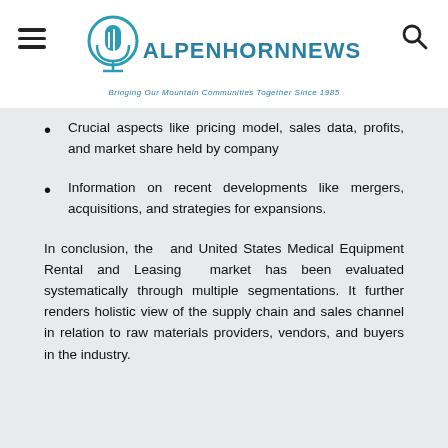ALPENHORNNEWS — Bringing Our Mountain Communities Together Since 1985
Crucial aspects like pricing model, sales data, profits, and market share held by company
Information on recent developments like mergers, acquisitions, and strategies for expansions.
In conclusion, the and United States Medical Equipment Rental and Leasing market has been evaluated systematically through multiple segmentations. It further renders holistic view of the supply chain and sales channel in relation to raw materials providers, vendors, and buyers in the industry.